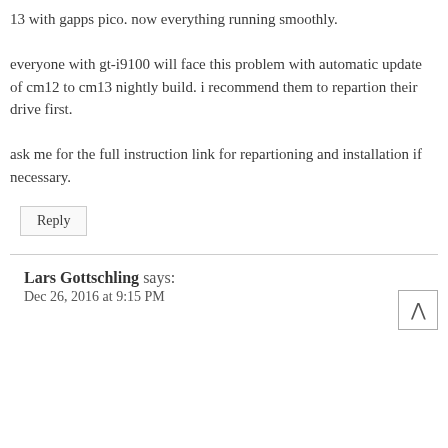13 with gapps pico. now everything running smoothly.
everyone with gt-i9100 will face this problem with automatic update of cm12 to cm13 nightly build. i recommend them to repartion their drive first.
ask me for the full instruction link for repartioning and installation if necessary.
Reply
Lars Gottschling says:
Dec 26, 2016 at 9:15 PM